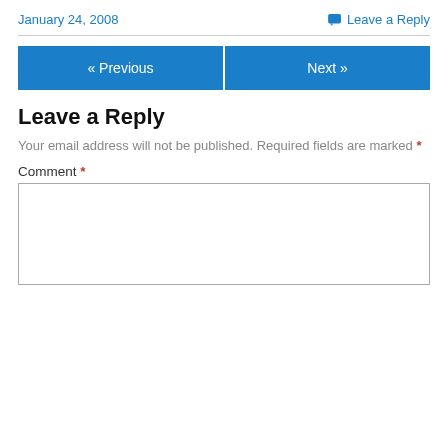January 24, 2008
Leave a Reply
« Previous
Next »
Leave a Reply
Your email address will not be published. Required fields are marked *
Comment *